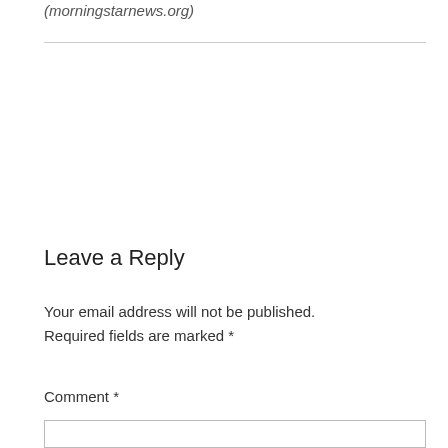(morningstarnews.org)
Leave a Reply
Your email address will not be published. Required fields are marked *
Comment *